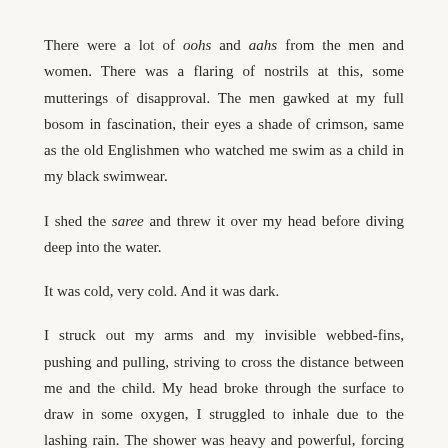There were a lot of oohs and aahs from the men and women. There was a flaring of nostrils at this, some mutterings of disapproval. The men gawked at my full bosom in fascination, their eyes a shade of crimson, same as the old Englishmen who watched me swim as a child in my black swimwear.
I shed the saree and threw it over my head before diving deep into the water.
It was cold, very cold. And it was dark.
I struck out my arms and my invisible webbed-fins, pushing and pulling, striving to cross the distance between me and the child. My head broke through the surface to draw in some oxygen, I struggled to inhale due to the lashing rain. The shower was heavy and powerful, forcing my body to stagger under the bed of water. I skimmed through the uprooted plants and floating furniture,